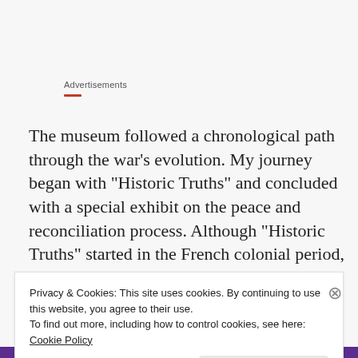Advertisements
The museum followed a chronological path through the war’s evolution. My journey began with “Historic Truths” and concluded with a special exhibit on the peace and reconciliation process. Although “Historic Truths” started in the French colonial period, the placards also suggested
Privacy & Cookies: This site uses cookies. By continuing to use this website, you agree to their use.
To find out more, including how to control cookies, see here: Cookie Policy
Close and accept